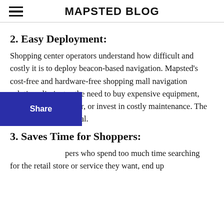MAPSTED BLOG
2. Easy Deployment:
Shopping center operators understand how difficult and costly it is to deploy beacon-based navigation. Mapsted's cost-free and hardware-free shopping mall navigation solution eliminates the need to buy expensive equipment, install supporting gear, or invest in costly maintenance. The entire process is digital.
3. Saves Time for Shoppers:
pers who spend too much time searching for the retail store or service they want, end up